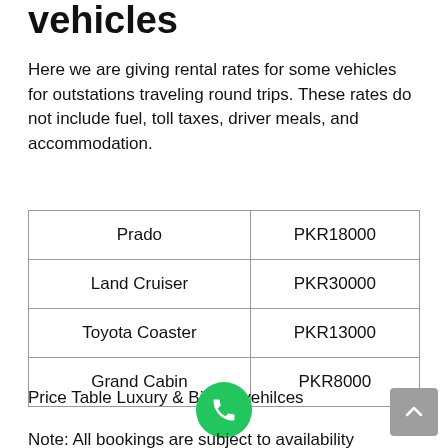vehicles
Here we are giving rental rates for some vehicles for outstations traveling round trips. These rates do not include fuel, toll taxes, driver meals, and accommodation.
| Prado | PKR18000 |
| Land Cruiser | PKR30000 |
| Toyota Coaster | PKR13000 |
| Grand Cabin | PKR8000 |
Price Table Luxury & Bigger vehilces
Note: All bookings are subject to availability